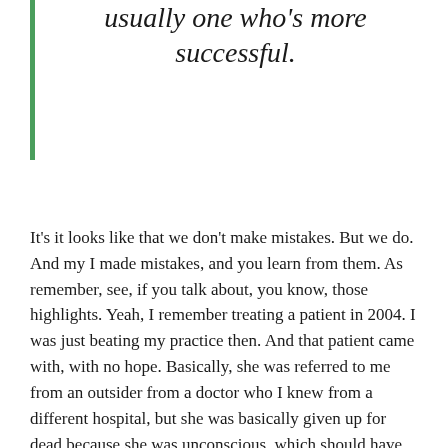usually one who's more successful.
It's it looks like that we don't make mistakes. But we do. And my I made mistakes, and you learn from them. As remember, see, if you talk about, you know, those highlights. Yeah, I remember treating a patient in 2004. I was just beating my practice then. And that patient came with, with no hope. Basically, she was referred to me from an outsider from a doctor who I knew from a different hospital, but she was basically given up for dead because she was unconscious, which should have been infection. With lots of clots inside the brain. It's called venous thrombosis and epilepsy in Europe at the